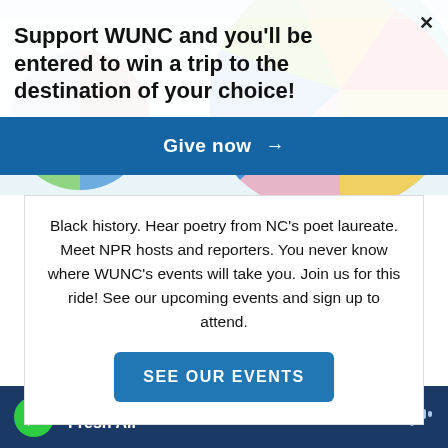[Figure (illustration): Colorful abstract circular design with geometric shapes in teal, pink, orange, green, and blue, used as background for the banner overlay]
Support WUNC and you'll be entered to win a trip to the destination of your choice!
Give now →
Black history. Hear poetry from NC's poet laureate. Meet NPR hosts and reporters. You never know where WUNC's events will take you. Join us for this ride! See our upcoming events and sign up to attend.
SEE OUR EVENTS
WUNC
Fresh Air